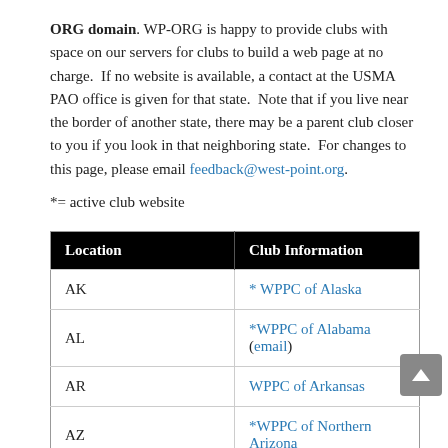ORG domain. WP-ORG is happy to provide clubs with space on our servers for clubs to build a web page at no charge.  If no website is available, a contact at the USMA PAO office is given for that state.  Note that if you live near the border of another state, there may be a parent club closer to you if you look in that neighboring state.  For changes to this page, please email feedback@west-point.org.
*= active club website
| Location | Club Information |
| --- | --- |
| AK | * WPPC of Alaska |
| AL | *WPPC of Alabama (email) |
| AR | WPPC of Arkansas |
| AZ | *WPPC of Northern Arizona |
| AZ | WPPC of Southern Arizona |